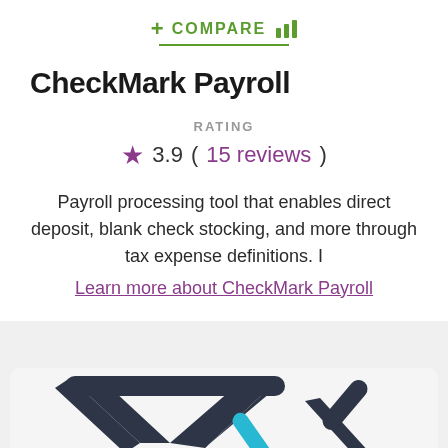+ COMPARE [chart icon]
CheckMark Payroll
RATING
3.9 ( 15 reviews )
Payroll processing tool that enables direct deposit, blank check stocking, and more through tax expense definitions. I
Learn more about CheckMark Payroll
[Figure (logo): CheckMark Payroll logo — dark angular chevron/arrow shapes with a cyan/blue diagonal accent element on white/light grey background]